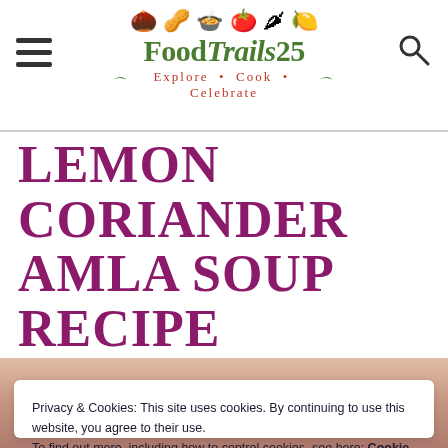FoodTrails25 — Explore • Cook • Celebrate
LEMON CORIANDER AMLA SOUP RECIPE
[Figure (illustration): Blurred food photo background showing soup ingredients in warm reddish-brown tones]
Privacy & Cookies: This site uses cookies. By continuing to use this website, you agree to their use. To find out more, including how to control cookies, see here: Cookie Policy
Close and accept